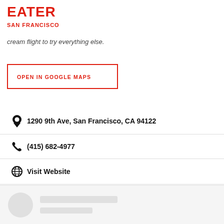EATER SAN FRANCISCO
[Figure (map): Map thumbnail with MAP VIEW label in top right corner]
cream flight to try everything else.
OPEN IN GOOGLE MAPS
1290 9th Ave, San Francisco, CA 94122
(415) 682-4977
Visit Website
[Figure (other): Loading placeholder with circular avatar and two gray placeholder lines]